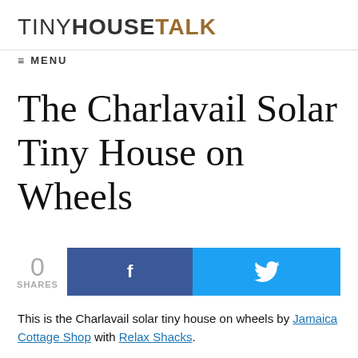TINYHOUSE TALK
≡ MENU
The Charlavail Solar Tiny House on Wheels
[Figure (infographic): Social share buttons showing 0 shares, a Facebook share button (blue with f icon), and a Twitter share button (cyan with bird icon)]
This is the Charlavail solar tiny house on wheels by Jamaica Cottage Shop with Relax Shacks.